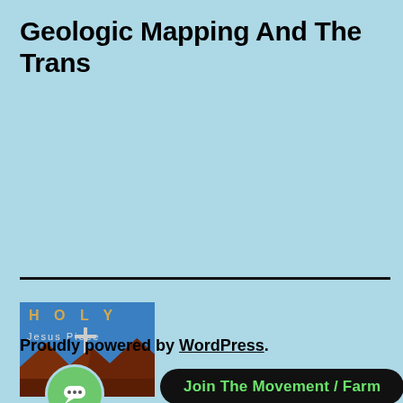Geologic Mapping And The Trans
[Figure (illustration): Album cover for 'Holy Jesus Piece' - shows text HOLY at top, Jesus Piece below, with a cross/lighthouse silhouette against a blue sky and dark mountain foreground]
Proudly powered by WordPress.
Join The Movement / Farm